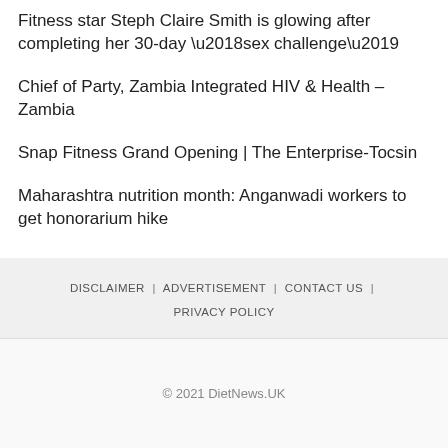Fitness star Steph Claire Smith is glowing after completing her 30-day ‘sex challenge’
Chief of Party, Zambia Integrated HIV & Health – Zambia
Snap Fitness Grand Opening | The Enterprise-Tocsin
Maharashtra nutrition month: Anganwadi workers to get honorarium hike
DISCLAIMER | ADVERTISEMENT | CONTACT US | PRIVACY POLICY
© 2021 DietNews.UK